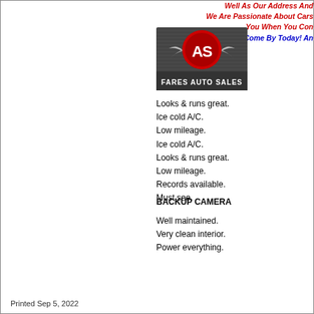Well As Our Address And We Are Passionate About Cars You When You Con Come By Today! An
[Figure (logo): Fares Auto Sales logo — red circular badge with 'AS' initials and wings, text 'FARES AUTO SALES' below on dark background]
Looks & runs great.
Ice cold A/C.
Low mileage.
Ice cold A/C.
Looks & runs great.
Low mileage.
Records available.
Must see.
BACKUP CAMERA
Well maintained.
Very clean interior.
Power everything.
Printed Sep 5, 2022